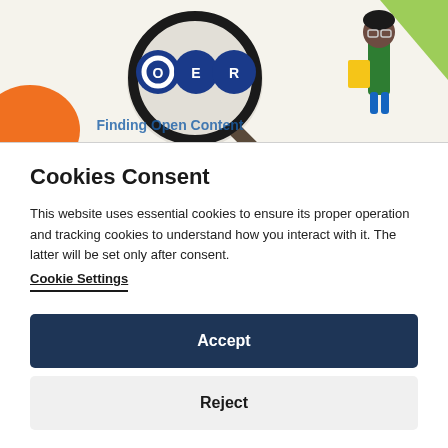[Figure (illustration): OER illustration showing a magnifying glass with letters O, E, R (blue circles) and a cartoon character holding a book, with text 'Finding Open Content' partially visible at the bottom]
Cookies Consent
This website uses essential cookies to ensure its proper operation and tracking cookies to understand how you interact with it. The latter will be set only after consent.
Cookie Settings
Accept
Reject